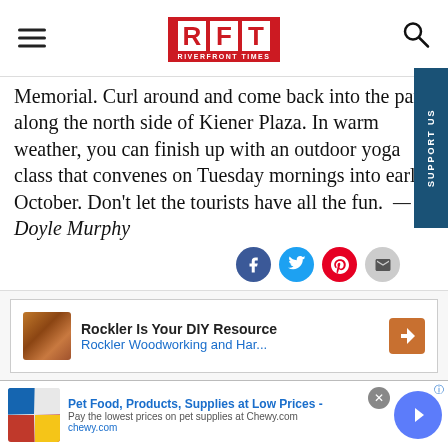RFT - RIVERFRONT TIMES
Memorial. Curl around and come back into the park along the north side of Kiener Plaza. In warm weather, you can finish up with an outdoor yoga class that convenes on Tuesday mornings into early October. Don't let the tourists have all the fun. —Doyle Murphy
[Figure (other): Social share icons: Facebook, Twitter, Pinterest, Email]
[Figure (other): Advertisement: Rockler Is Your DIY Resource - Rockler Woodworking and Har...]
[Figure (other): Bottom advertisement: Pet Food, Products, Supplies at Low Prices - Pay the lowest prices on pet supplies at Chewy.com - chewy.com]